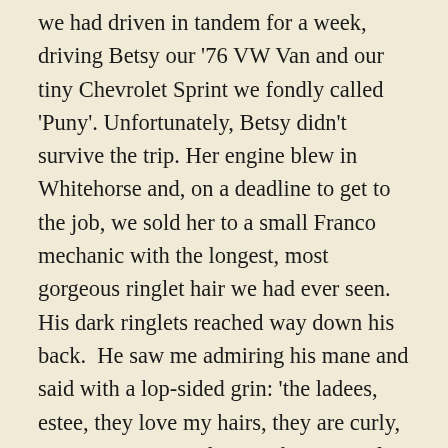we had driven in tandem for a week, driving Betsy our '76 VW Van and our tiny Chevrolet Sprint we fondly called 'Puny'. Unfortunately, Betsy didn't survive the trip. Her engine blew in Whitehorse and, on a deadline to get to the job, we sold her to a small Franco mechanic with the longest, most gorgeous ringlet hair we had ever seen. His dark ringlets reached way down his back.  He saw me admiring his mane and said with a lop-sided grin: 'the ladees, estee, they love my hairs, they are curly, non?'  I just wanted to touch it to verify that it was real.  Of course my mind flitted back to the Francos marching intensely in perfect formation in Nijmegen, Holland a couple of years prior, and singing their old, soulful regimental songs – making the Anglo teams look rag-tag by comparison.  Such was their pride and fervor for their culture.